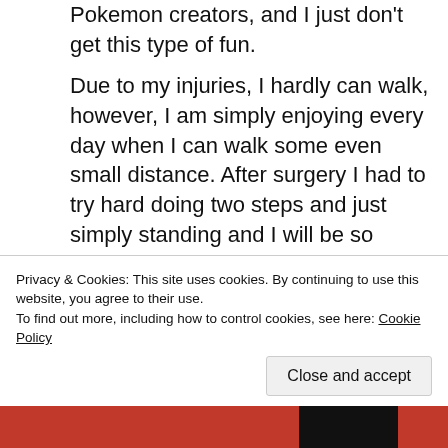Pokemon creators, and I just don't get this type of fun. Due to my injuries, I hardly can walk, however, I am simply enjoying every day when I can walk some even small distance. After surgery I had to try hard doing two steps and just simply standing and I will be so happy when I can simply walk again. This Pokemon thing is getting people believe they are doing something great and, oh, yes, not wasting their
Advertisements
Privacy & Cookies: This site uses cookies. By continuing to use this website, you agree to their use.
To find out more, including how to control cookies, see here: Cookie Policy